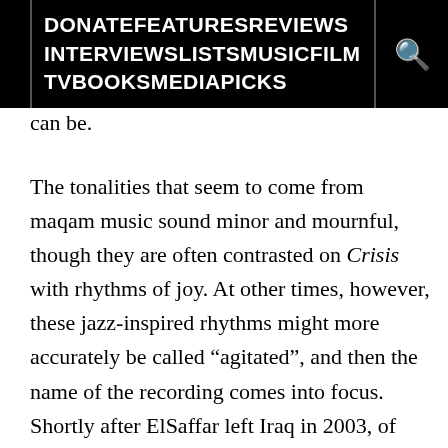DONATE FEATURES REVIEWS INTERVIEWS LISTS MUSIC FILM TV BOOKS MEDIA PICKS
can be.
The tonalities that seem to come from maqam music sound minor and mournful, though they are often contrasted on Crisis with rhythms of joy. At other times, however, these jazz-inspired rhythms might more accurately be called “agitated”, and then the name of the recording comes into focus. Shortly after ElSaffar left Iraq in 2003, of course, the U.S. invaded the country, and chaos became the norm. Sadness and agitation go together, then, in this music and